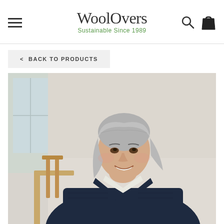WoolOvers – Sustainable Since 1989
< BACK TO PRODUCTS
[Figure (photo): A smiling middle-aged woman with silver-grey hair wearing a dark navy v-neck knit sweater over a white collared shirt, seated near a wooden chair in a bright room.]